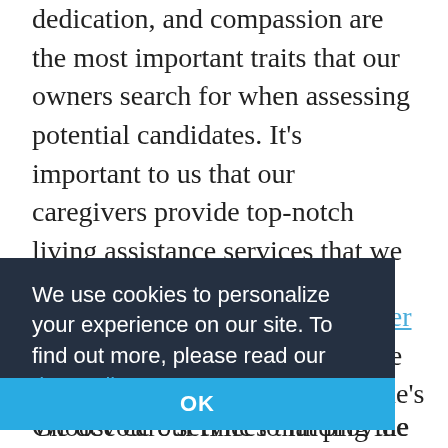dedication, and compassion are the most important traits that our owners search for when assessing potential candidates. It's important to us that our caregivers provide top-notch living assistance services that we would want our own loved ones to receive if they were ever in need.
We devote our time to finding the right care provider for every single one of our senior
We use cookies to personalize your experience on our site. To find out more, please read our data policy.
OK
Choose care services that provide care and